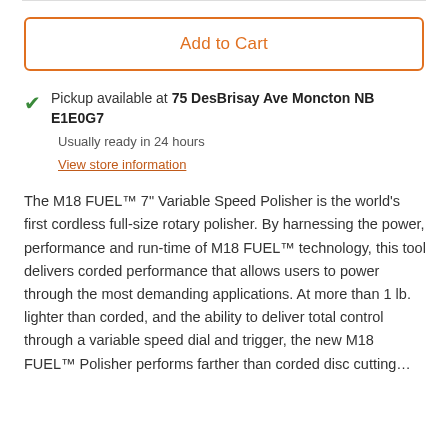Add to Cart
Pickup available at 75 DesBrisay Ave Moncton NB E1E0G7
Usually ready in 24 hours
View store information
The M18 FUEL™ 7" Variable Speed Polisher is the world's first cordless full-size rotary polisher. By harnessing the power, performance and run-time of M18 FUEL™ technology, this tool delivers corded performance that allows users to power through the most demanding applications. At more than 1 lb. lighter than corded, and the ability to deliver total control through a variable speed dial and trigger, the new M18 FUEL™ Polisher performs farther than corded disc cutting…